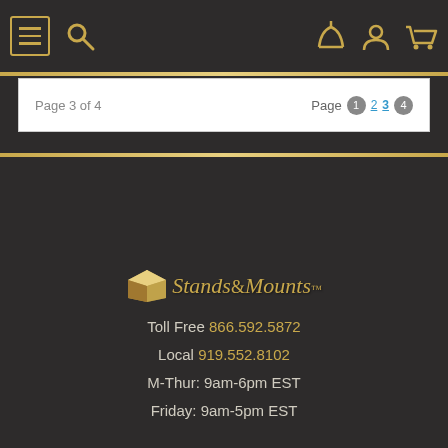Navigation bar with menu, search, phone, account, and cart icons
Page 3 of 4 | Page 1 2 3 4
[Figure (logo): Stands and Mounts logo with box icon and script text]
Toll Free 866.592.5872
Local 919.552.8102
M-Thur: 9am-6pm EST
Friday: 9am-5pm EST